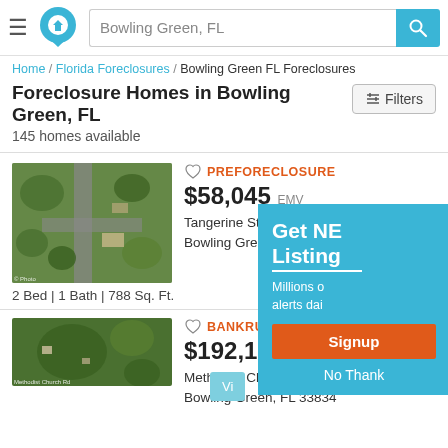Bowling Green, FL — search bar header with logo
Home / Florida Foreclosures / Bowling Green FL Foreclosures
Foreclosure Homes in Bowling Green, FL
145 homes available
[Figure (screenshot): Aerial satellite view of Tangerine St, Bowling Green FL]
PREFORECLOSURE
$58,045 EMV
Tangerine St
Bowling Green, FL 33834
2 Bed | 1 Bath | 788 Sq. Ft.
[Figure (screenshot): Aerial satellite view of Methodist Church Rd, Bowling Green FL]
BANKRUPTCY
$192,185 EMV
Methodist Church Rd
Bowling Green, FL 33834
[Figure (infographic): Popup overlay: Get NEW Listings — Signup button and No Thanks link]